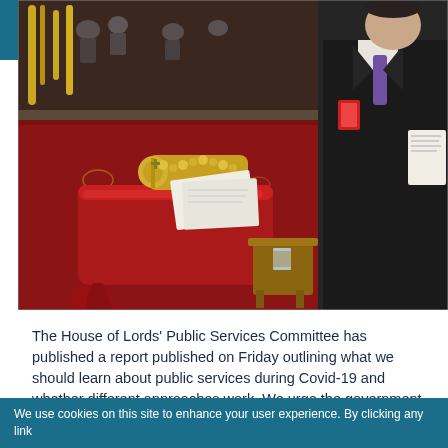[Figure (photo): Interior of the House of Lords chamber showing the Woolsack (red cushion) with the ceremonial mace, papers on top, a small side table with a glass of water, ornate gold railings, red carpet, seated observers in background, and a man in a dark suit with purple tie standing on the right holding papers.]
The House of Lords' Public Services Committee has published a report published on Friday outlining what we should learn about public services during Covid-19 and whether different approaches work. We urge the government to urgently address these Covid findings - this is a challenge of similar magnitude to the Second World War and should herald a new era for public health and care.
We use cookies on this site to enhance your user experience. By clicking any link